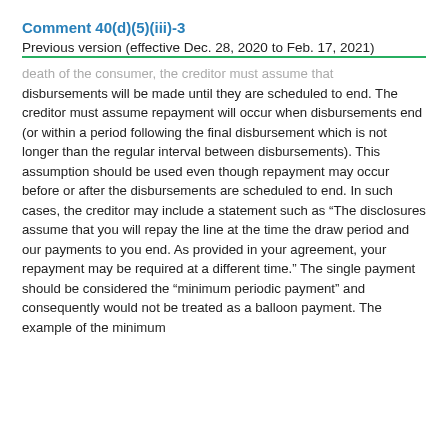Comment 40(d)(5)(iii)-3
Previous version (effective Dec. 28, 2020 to Feb. 17, 2021)
death of the consumer, the creditor must assume that disbursements will be made until they are scheduled to end. The creditor must assume repayment will occur when disbursements end (or within a period following the final disbursement which is not longer than the regular interval between disbursements). This assumption should be used even though repayment may occur before or after the disbursements are scheduled to end. In such cases, the creditor may include a statement such as “The disclosures assume that you will repay the line at the time the draw period and our payments to you end. As provided in your agreement, your repayment may be required at a different time.” The single payment should be considered the “minimum periodic payment” and consequently would not be treated as a balloon payment. The example of the minimum